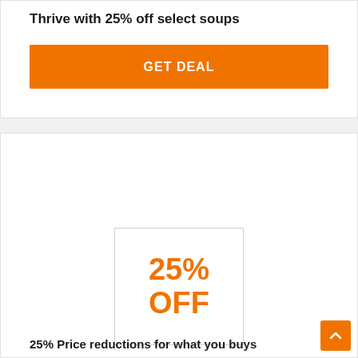Thrive with 25% off select soups
GET DEAL
[Figure (other): 25% OFF discount badge in a bordered box]
25% Price reductions for what you buys